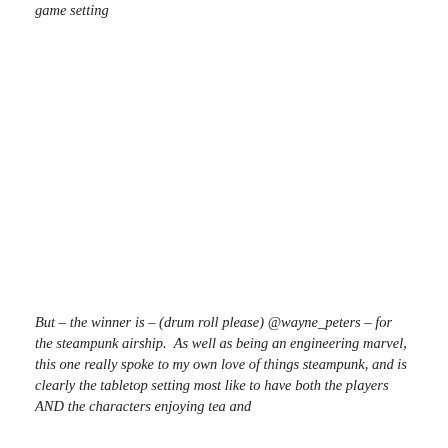game setting
But – the winner is – (drum roll please) @wayne_peters – for the steampunk airship.  As well as being an engineering marvel, this one really spoke to my own love of things steampunk, and is clearly the tabletop setting most like to have both the players AND the characters enjoying tea and